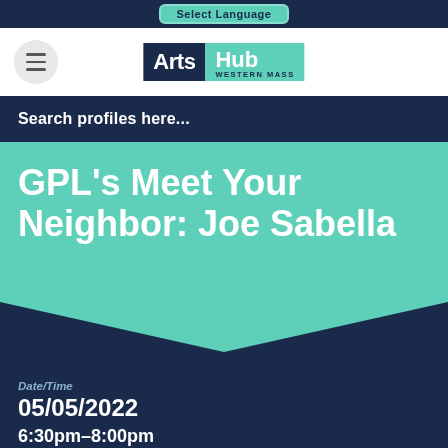Select Language
[Figure (logo): Arts Hub Western Mass logo — dark navy rectangle with 'Arts' in white and teal rectangle with 'Hub' in white and 'WESTERN MASS' in dark navy below]
Search profiles here...
GPL's Meet Your Neighbor: Joe Sabella
Date/Time
05/05/2022
6:30pm–8:00pm
Location